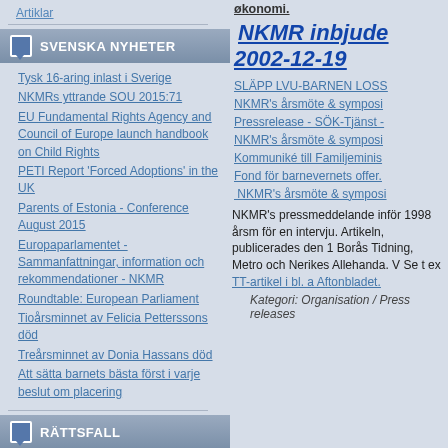Artiklar
SVENSKA NYHETER
Tysk 16-aring inlast i Sverige
NKMRs yttrande SOU 2015:71
EU Fundamental Rights Agency and Council of Europe launch handbook on Child Rights
PETI Report 'Forced Adoptions' in the UK
Parents of Estonia - Conference August 2015
Europaparlamentet - Sammanfattningar, information och rekommendationer - NKMR
Roundtable: European Parliament
Tioårsminnet av Felicia Petterssons död
Treårsminnet av Donia Hassans död
Att sätta barnets bästa först i varje beslut om placering
RÄTTSFALL
Fallet - Daniel Sigström
fallet med modern som anklagas för att ha skadat sitt barn
Uppsala kommun friad för pojkes
økonomi.
NKMR inbjude 2002-12-19
SLÄPP LVU-BARNEN LOSS
NKMR's årsmöte & symposi
Pressrelease - SÖK-Tjänst -
NKMR's årsmöte & symposi
Kommuniké till Familjeminis
Fond för barnevernets offer
NKMR's årsmöte & symposi
NKMR's pressmeddelande inför 1998 årsm för en intervju. Artikeln, publicerades den 1 Borås Tidning, Metro och Nerikes Allehanda. V Se t ex TT-artikel i bl. a Aftonbladet.
Kategori: Organisation / Press releases